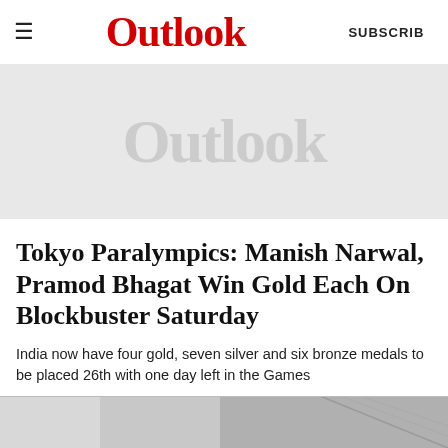Outlook  SUBSCRIBE
[Figure (other): Outlook magazine logo watermark on grey advertisement/placeholder banner background]
Tokyo Paralympics: Manish Narwal, Pramod Bhagat Win Gold Each On Blockbuster Saturday
India now have four gold, seven silver and six bronze medals to be placed 26th with one day left in the Games
10 January 2022
[Figure (photo): Partial bottom strip of a photo, dark and grey tones, appears to be a sports/athletics image]